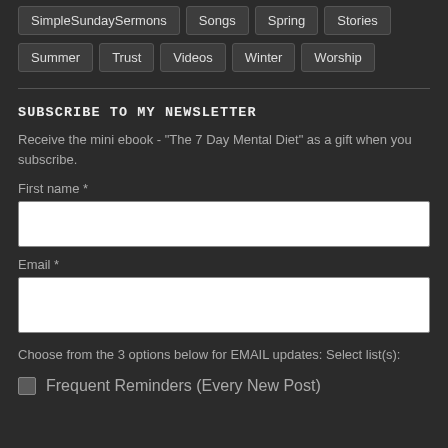SimpleSundaySermons
Songs
Spring
Stories
Summer
Trust
Videos
Winter
Worship
SUBSCRIBE TO MY NEWSLETTER
Receive the mini ebook - "The 7 Day Mental Diet" as a gift when you subscribe.
First name *
Email *
Choose from the 3 options below for EMAIL updates: Select list(s):
Frequent Reminders (Every New Post)